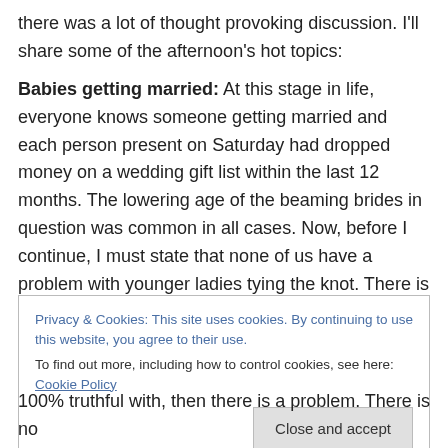there was a lot of thought provoking discussion.  I'll share some of the afternoon's hot topics:
Babies getting married: At this stage in life, everyone knows someone getting married and each person present on Saturday had dropped money on a wedding gift list within the last 12 months.  The lowering age of the beaming brides in question was common in all cases. Now, before I continue, I must state that none of us have a problem with younger ladies tying the knot.  There is nothing wrong with a young, confident woman defining the
Privacy & Cookies: This site uses cookies. By continuing to use this website, you agree to their use.
To find out more, including how to control cookies, see here: Cookie Policy
100% truthful with, then there is a problem.  There is no